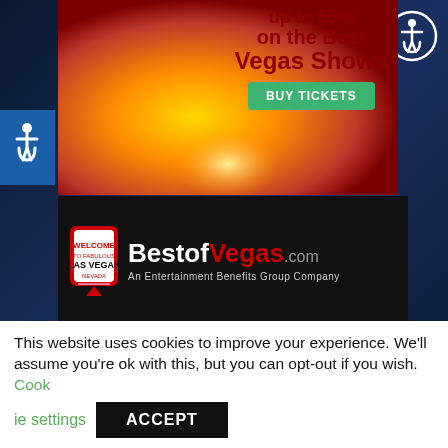[Figure (photo): Dark blue background with silhouette figures and partial dancer silhouette on right side]
[Figure (illustration): Accessibility wheelchair icon circle, white on blue background, top right]
[Figure (illustration): Accessibility wheelchair icon on blue rectangle, left side]
[Figure (photo): Advertisement banner: woman performer in orange costume against golden background with text 'up to 55% on the Best Vegas Shows' and green BUY TICKETS button]
[Figure (logo): BestofVegas.com logo with Las Vegas sign icon on black background, subtitle: An Entertainment Benefits Group Company]
[Figure (illustration): Card with teal circle background showing text 'Supports a Healthy']
This website uses cookies to improve your experience. We'll assume you're ok with this, but you can opt-out if you wish. Cookie settings ACCEPT